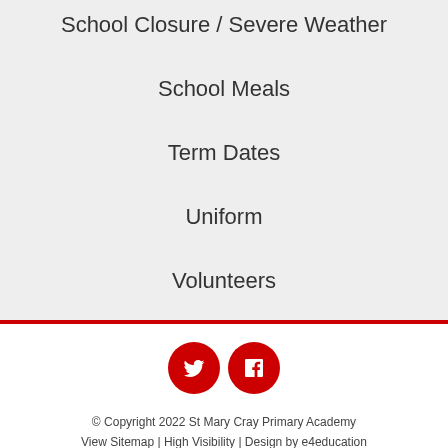School Closure / Severe Weather
School Meals
Term Dates
Uniform
Volunteers
[Figure (illustration): Two red circular social media icon buttons: Twitter (bird icon) and Facebook (f icon)]
© Copyright 2022 St Mary Cray Primary Academy
View Sitemap | High Visibility | Design by e4education
Useful Links